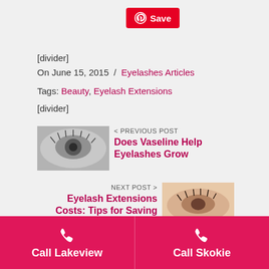[Figure (screenshot): Pinterest Save button in red with Pinterest logo icon and 'Save' text]
[divider]
On June 15, 2015  /  Eyelashes Articles
Tags: Beauty, Eyelash Extensions
[divider]
[Figure (photo): Black and white close-up photo of a woman's closed eye with long eyelashes]
< PREVIOUS POST
Does Vaseline Help Eyelashes Grow
NEXT POST >
Eyelash Extensions Costs: Tips for Saving Money
[Figure (photo): Close-up photo of a woman's closed eye with eyelash extensions]
Call Lakeview    Call Skokie